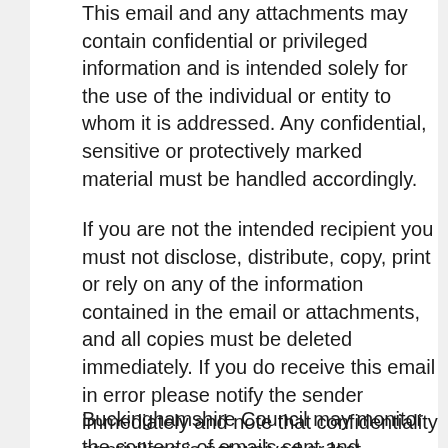This email and any attachments may contain confidential or privileged information and is intended solely for the use of the individual or entity to whom it is addressed. Any confidential, sensitive or protectively marked material must be handled accordingly.
If you are not the intended recipient you must not disclose, distribute, copy, print or rely on any of the information contained in the email or attachments, and all copies must be deleted immediately. If you do receive this email in error please notify the sender immediately and note that confidentiality or privilege is not waived or lost.
Buckinghamshire Council may monitor the contents of emails sent and